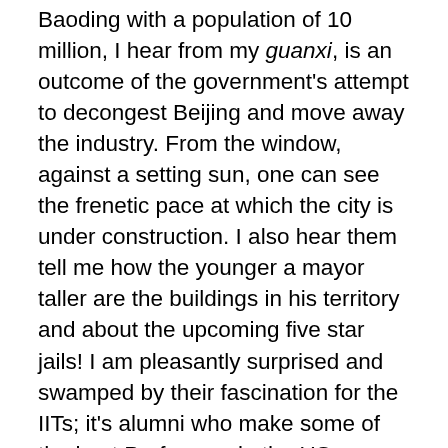Baoding with a population of 10 million, I hear from my guanxi, is an outcome of the government's attempt to decongest Beijing and move away the industry. From the window, against a setting sun, one can see the frenetic pace at which the city is under construction. I also hear them tell me how the younger a mayor taller are the buildings in his territory and about the upcoming five star jails! I am pleasantly surprised and swamped by their fascination for the IITs; it's alumni who make some of the best Professors in the US; questions on family traditions and marriages. Including whether they could seek an admission at the IIMs? Here was, I thought, a breed which had transcended the colour of their passport – intense curiosity, hungry to grow and seek best in class stimulation wherever it could be found… At the end of the meal Frank volunteers to settle the bill. Within seconds the rest pay back their share via the hugely dependable WeChat!